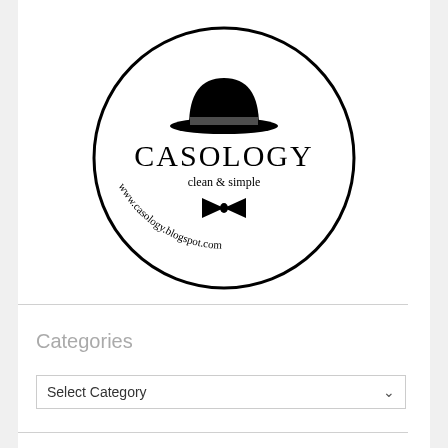[Figure (logo): Casology blog logo: circular stamp design with a bowler hat illustration at top, large text 'CASOLOGY', subtitle 'clean & simple', a bow tie illustration, and curved text along the bottom reading 'www.casology.blogspot.com']
Categories
Select Category